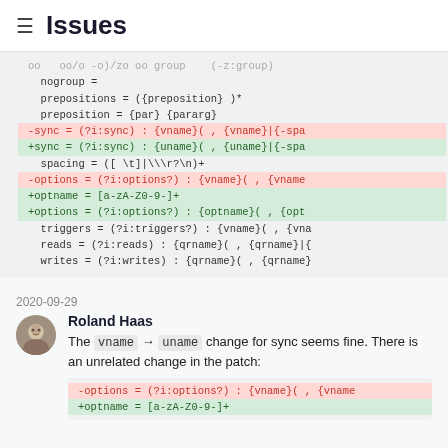Issues
[Figure (screenshot): Code diff block showing grammar rules with removed lines in red and added lines in green, including nogroup, prepositions, preposition, sync, spacing, options, optname, triggers, reads, writes rules.]
2020-09-29
Roland Haas
The vname → uname change for sync seems fine. There is an unrelated change in the patch:
[Figure (screenshot): Code diff block showing -options and +optname lines.]